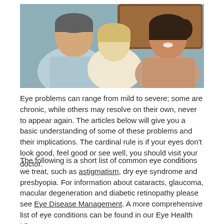[Figure (photo): A man and a woman smiling at a young child between them, appearing to be a happy family scene in a bedroom setting.]
Eye problems can range from mild to severe; some are chronic, while others may resolve on their own, never to appear again. The articles below will give you a basic understanding of some of these problems and their implications. The cardinal rule is if your eyes don't look good, feel good or see well, you should visit your doctor.
The following is a short list of common eye conditions we treat, such as astigmatism, dry eye syndrome and presbyopia. For information about cataracts, glaucoma, macular degeneration and diabetic retinopathy please see Eye Disease Management. A more comprehensive list of eye conditions can be found in our Eye Health Library.